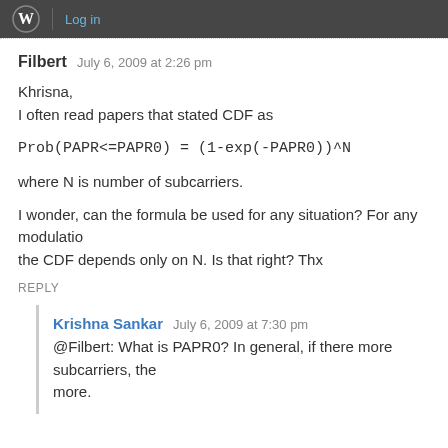Log in
Filbert   July 6, 2009 at 2:26 pm
Khrisna,
I often read papers that stated CDF as
where N is number of subcarriers.
I wonder, can the formula be used for any situation? For any modulation the CDF depends only on N. Is that right? Thx
REPLY
Krishna Sankar   July 6, 2009 at 7:30 pm
@Filbert: What is PAPR0? In general, if there more subcarriers, the more.